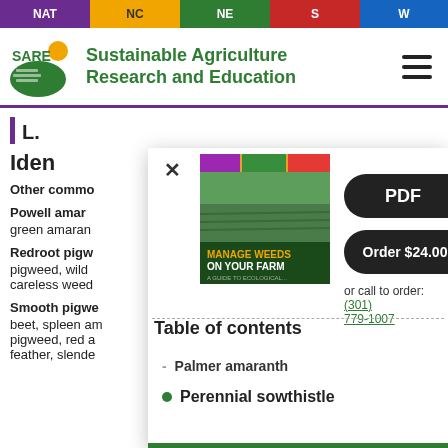NAT | NC | NE | S | W
[Figure (logo): SARE logo with sun/plant graphic and text: Sustainable Agriculture Research and Education]
L.
Iden[tification]
Other commo[n names:]
Powell amar[anth] green amaran[th]
Redroot pigw[eed] pigweed, wild careless weed
Smooth pigwe[ed] beet, spleen am[aranth] pigweed, red a[maranth] feather, slende[r amaranth]
[Figure (screenshot): Popup dialog showing book cover 'Manage Weeds On Your Farm', PDF download button, Order $24.00 button with shopping cart, call to order (301) 779-1007, Table of contents with items including Palmer amaranth and Perennial sowthistle]